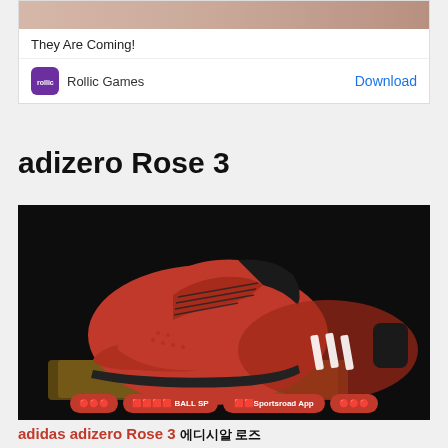[Figure (screenshot): Ad banner with peach/brown gradient image strip, text 'They Are Coming!', Rollic Games logo and Download button]
adizero Rose 3
[Figure (photo): Red and black Adidas adizero Rose 3 basketball shoes on a dark background with wooden platform, with red pill-shaped tags at bottom showing Korean text and 'BALL SP', 'Sportsroad App']
adidas adizero Rose 3 (Korean text)